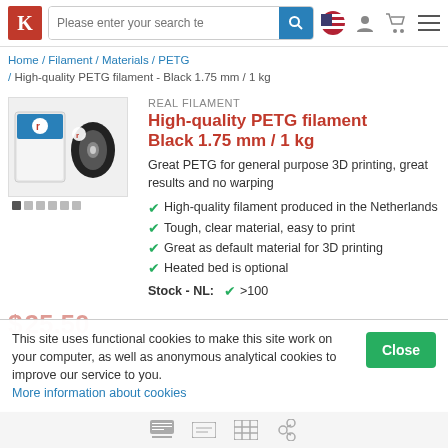[Figure (screenshot): Website navigation bar with logo, search bar, flag icon, user icon, cart icon, and hamburger menu]
Home / Filament / Materials / PETG / High-quality PETG filament - Black 1.75 mm / 1 kg
REAL FILAMENT
High-quality PETG filament Black 1.75 mm / 1 kg
Great PETG for general purpose 3D printing, great results and no warping
High-quality filament produced in the Netherlands
Tough, clear material, easy to print
Great as default material for 3D printing
Heated bed is optional
Stock - NL:  ✔ >100
$ 25.50
This site uses functional cookies to make this site work on your computer, as well as anonymous analytical cookies to improve our service to you. More information about cookies